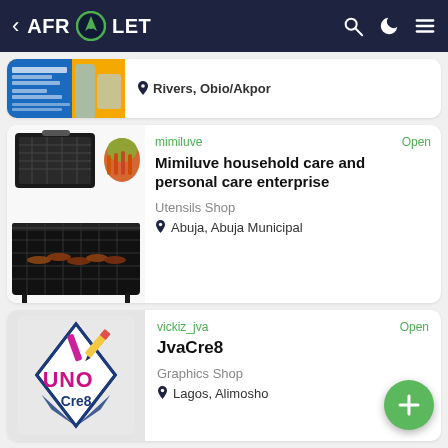AFROLET — navigation bar with back, logo, search, dark mode, menu icons
[Figure (screenshot): Partial listing card showing a yellow/blue advertisement image for monthly packages, VAT and tax services. Location shown: Rivers, Obio/Akpor]
Rivers, Obio/Akpor
[Figure (photo): Listing card image: portable BBQ grill with grilled food/kebabs and vegetables]
mimiluve
Open
Mimiluve household care and personal care enterprise
Utensils Shop
Abuja, Abuja Municipal
[Figure (logo): UNO Cre8 logo — stylized diamond/kite shape with colorful pencil graphic and UNO Cre8 text]
vickiz_jva
Open
JvaCre8
Graphics Shop
Lagos, Alimosho